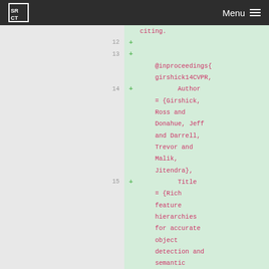SRCT Menu
citing.
12 +
13 +
    @inproceedings{girshick14CVPR,
14 +         Author = {Girshick, Ross and Donahue, Jeff and Darrell, Trevor and Malik, Jitendra},
15 +         Title = {Rich feature hierarchies for accurate object detection and semantic